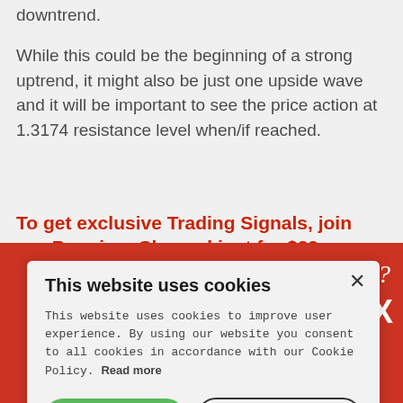downtrend.
While this could be the beginning of a strong uptrend, it might also be just one upside wave and it will be important to see the price action at 1.3174 resistance level when/if reached.
To get exclusive Trading Signals, join our Premium Channel just for $29 per month
[Figure (screenshot): Red promotional banner partially visible behind cookie consent modal, showing cursive italic text 'or?' and bold white text 'OREX', with a 'sign me up!' button at the bottom.]
This website uses cookies

This website uses cookies to improve user experience. By using our website you consent to all cookies in accordance with our Cookie Policy. Read more

I AGREE  I DISAGREE